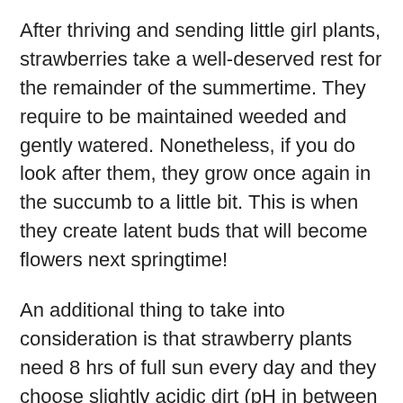After thriving and sending little girl plants, strawberries take a well-deserved rest for the remainder of the summertime. They require to be maintained weeded and gently watered. Nonetheless, if you do look after them, they grow once again in the succumb to a little bit. This is when they create latent buds that will become flowers next springtime!
An additional thing to take into consideration is that strawberry plants need 8 hrs of full sun every day and they choose slightly acidic dirt (pH in between 5.5 as well as 6.8). In addition, they require good water drainage. Make certain not to hide the crown of a strawberry plant if you aren't beginning your own seeds– it could rot the plant.
Strawberry plants need bees. They require to be pollinated in order to set fruit. After the strawberries...